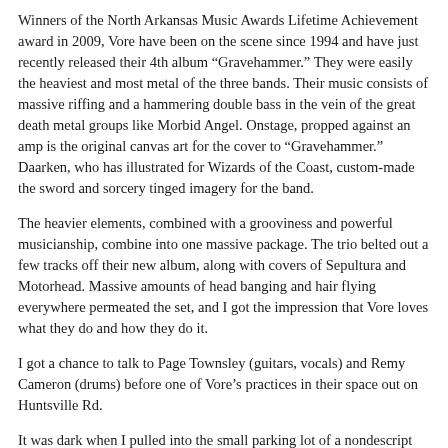Winners of the North Arkansas Music Awards Lifetime Achievement award in 2009, Vore have been on the scene since 1994 and have just recently released their 4th album “Gravehammer.” They were easily the heaviest and most metal of the three bands. Their music consists of massive riffing and a hammering double bass in the vein of the great death metal groups like Morbid Angel. Onstage, propped against an amp is the original canvas art for the cover to “Gravehammer.” Daarken, who has illustrated for Wizards of the Coast, custom-made the sword and sorcery tinged imagery for the band.
The heavier elements, combined with a grooviness and powerful musicianship, combine into one massive package. The trio belted out a few tracks off their new album, along with covers of Sepultura and Motorhead. Massive amounts of head banging and hair flying everywhere permeated the set, and I got the impression that Vore loves what they do and how they do it.
I got a chance to talk to Page Townsley (guitars, vocals) and Remy Cameron (drums) before one of Vore’s practices in their space out on Huntsville Rd.
It was dark when I pulled into the small parking lot of a nondescript two story building.